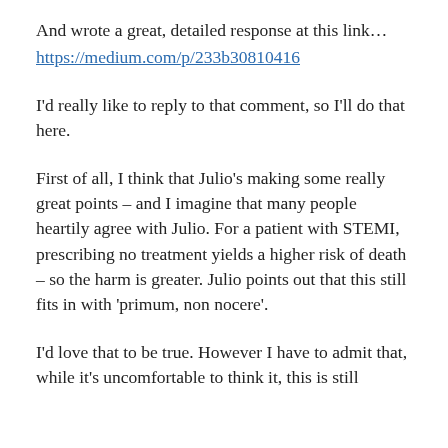And wrote a great, detailed response at this link…
https://medium.com/p/233b30810416
I'd really like to reply to that comment, so I'll do that here.
First of all, I think that Julio's making some really great points – and I imagine that many people heartily agree with Julio. For a patient with STEMI, prescribing no treatment yields a higher risk of death – so the harm is greater. Julio points out that this still fits in with 'primum, non nocere'.
I'd love that to be true. However I have to admit that, while it's uncomfortable to think it, this is still utilitarianism. The argument of the utilitarian is the…